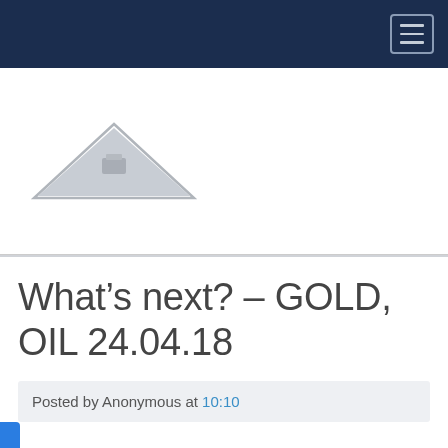[Figure (logo): Website navigation bar with dark navy background and hamburger menu icon (three horizontal lines) in top right corner]
[Figure (logo): Website logo area with a gray triangular mountain/peak logo graphic on white background]
What’s next? – GOLD, OIL 24.04.18
Posted by Anonymous at 10:10